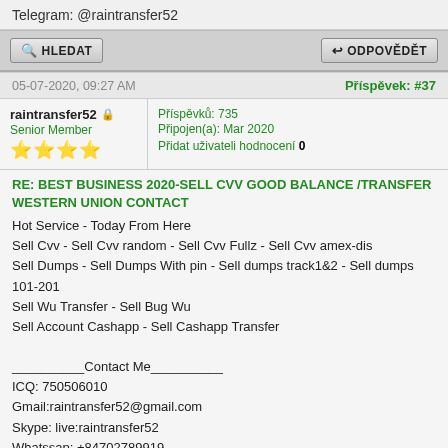Telegram: @raintransfer52
[Figure (screenshot): HLEDAT and ODPOVĚDĚT buttons bar]
05-07-2020, 09:27 AM
Příspěvek: #37
raintransfer52 🔒 Senior Member ⭐⭐⭐⭐
Příspěvků: 735
Připojen(a): Mar 2020
Přidat uživateli hodnocení 0
RE: BEST BUSINESS 2020-SELL CVV GOOD BALANCE /TRANSFER WESTERN UNION CONTACT
Hot Service - Today From Here
Sell Cvv - Sell Cvv random - Sell Cvv Fullz - Sell Cvv amex-dis
Sell Dumps - Sell Dumps With pin - Sell dumps track1&2 - Sell dumps 101-201
Sell Wu Transfer - Sell Bug Wu
Sell Account Cashapp - Sell Cashapp Transfer

__________Contact Me__________
ICQ: 750506010
Gmail:raintransfer52@gmail.com
Skype: live:raintransfer52
Whatssap: +84702789919
Telegram: @raintransfer52